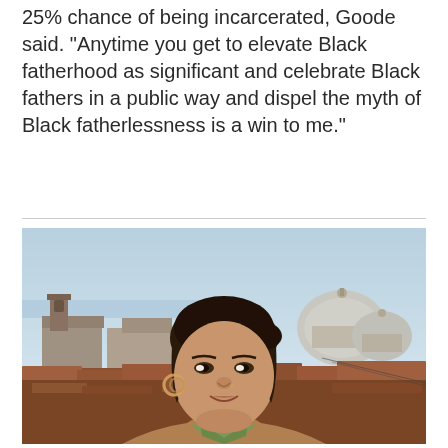25% chance of being incarcerated, Goode said. "Anytime you get to elevate Black fatherhood as significant and celebrate Black fathers in a public way and dispel the myth of Black fatherlessness is a win to me."
[Figure (photo): Portrait of a young woman with dark hair pulled back, wearing hoop earrings and a green-collared shirt with a brown knit top, photographed outdoors in front of a European cityscape (appears to be Venice, Italy) with orange-red rooftops, church domes, and a pale blue sky.]